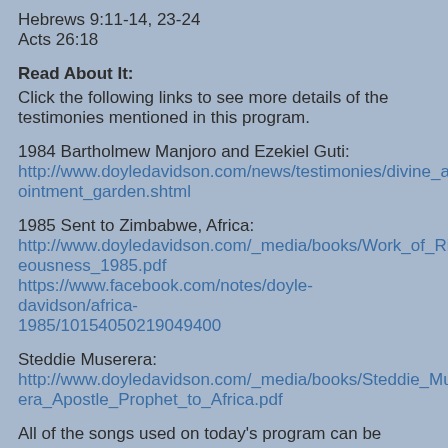Hebrews 9:11-14, 23-24
Acts 26:18
Read About It:
Click the following links to see more details of the testimonies mentioned in this program.
1984 Bartholmew Manjoro and Ezekiel Guti:
http://www.doyledavidson.com/news/testimonies/divine_appointment_garden.shtml
1985 Sent to Zimbabwe, Africa:
http://www.doyledavidson.com/_media/books/Work_of_Righteousness_1985.pdf
https://www.facebook.com/notes/doyle-davidson/africa-1985/10154050219049400
Steddie Muserera:
http://www.doyledavidson.com/_media/books/Steddie_Muserera_Apostle_Prophet_to_Africa.pdf
All of the songs used on today's program can be